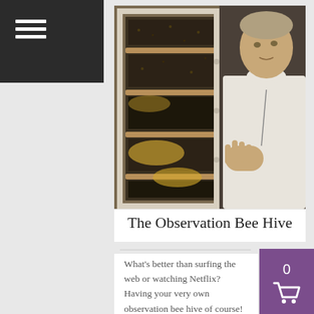[Figure (photo): Photo of a man in a white t-shirt standing next to a glass observation bee hive filled with bees and honeycomb frames.]
The Observation Bee Hive
What's better than surfing the web or watching Netflix? Having your very own observation bee hive of course! Whether you are a newbee or a long time veteran beekeeper an observation bee hive is the